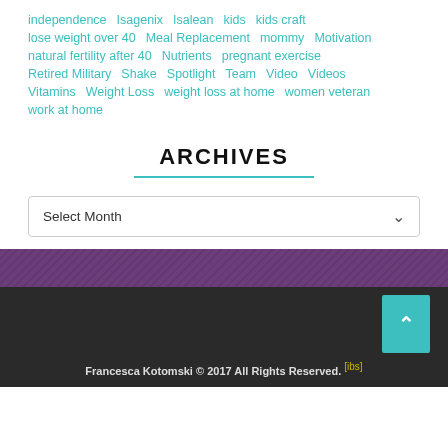independence
Isagenix
Isalean
kids
kids craft
lose weight over 40
Meal Replacement
mommy
Motivation
natural fertility after 40
Nutrients
pregnant exercise
Retired Military
Shake
Spotlight
Team
Video
Videos
Vitamins
Weight Loss
weight loss at home
women veteran
work at home
ARCHIVES
Francesca Kotomski © 2017 All Rights Reserved. [ibs]